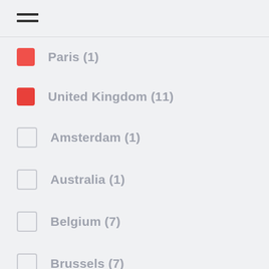Paris (1)
United Kingdom (11)
Amsterdam (1)
Australia (1)
Belgium (7)
Brussels (7)
Denmark (1)
Dubaï (2)